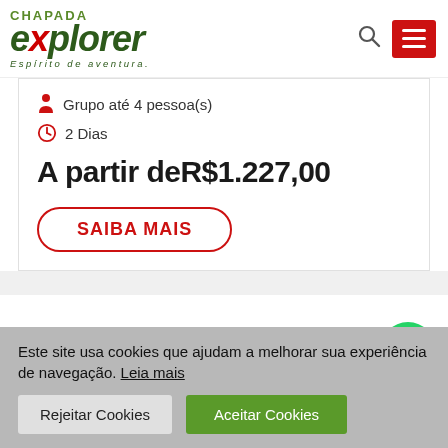[Figure (logo): Chapada Explorer logo with green explorer text, red X, tagline 'Espírito de aventura.']
Grupo até 4 pessoa(s)
2 Dias
A partir deR$1.227,00
SAIBA MAIS
[Figure (logo): WhatsApp green circle icon]
Este site usa cookies que ajudam a melhorar sua experiência de navegação. Leia mais
Rejeitar Cookies
Aceitar Cookies